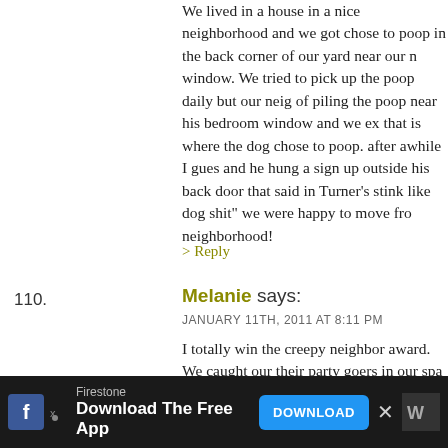We lived in a house in a nice neighborhood and we got chose to poop in the back corner of our yard near our n window. We tried to pick up the poop daily but our neig of piling the poop near his bedroom window and we ex that is where the dog chose to poop. after awhile I gues and he hung a sign up outside his back door that said in Turner's stink like dog shit" we were happy to move fro neighborhood!
> Reply
110. Melanie says:
JANUARY 11TH, 2011 AT 8:11 PM
I totally win the creepy neighbor award. We caught our their party goers in our spa … er … enjoying each others might add that all of the spa participants were married NOT in the spa.
The best part? I had their kids asleep in my living room. with the big window looking out to the spa.
[Figure (screenshot): Advertisement bar at bottom: Firestone app download ad with Facebook icon, brand name, 'Download The Free App' text, blue DOWNLOAD button, and close X button.]